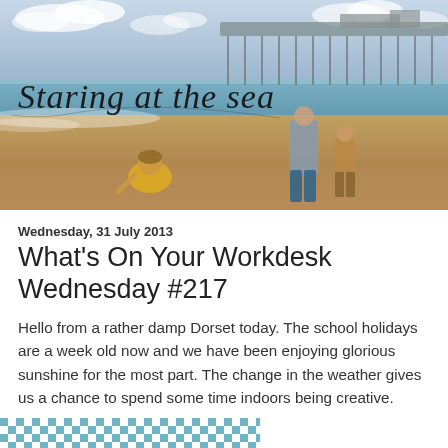[Figure (photo): Beach scene header image showing a seaside pier in the background, calm sea, sandy beach. A man and child play on the beach at right. A young child in yellow crouches on the sand at left. Blog title 'Staring at the sea' overlaid in decorative script font.]
Wednesday, 31 July 2013
What's On Your Workdesk Wednesday #217
Hello from a rather damp Dorset today. The school holidays are a week old now and we have been enjoying glorious sunshine for the most part. The change in the weather gives us a chance to spend some time indoors being creative.
[Figure (photo): Partial view of a blue and white checkered/gingham fabric or tablecloth at the bottom of the page.]